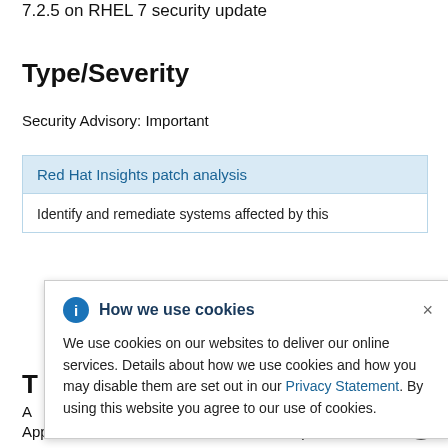7.2.5 on RHEL 7 security update
Type/Severity
Security Advisory: Important
Red Hat Insights patch analysis
Identify and remediate systems affected by this
How we use cookies

We use cookies on our websites to deliver our online services. Details about how we use cookies and how you may disable them are set out in our Privacy Statement. By using this website you agree to our use of cookies.
A ... Enterprise
Application Platform 7.2 for Red Hat Enterprise Linux 7.